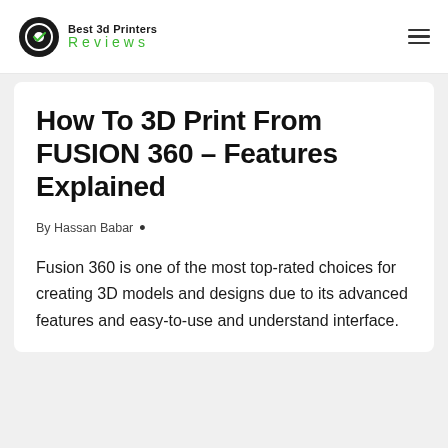Best 3d Printers Reviews
How To 3D Print From FUSION 360 – Features Explained
By Hassan Babar •
Fusion 360 is one of the most top-rated choices for creating 3D models and designs due to its advanced features and easy-to-use and understand interface.